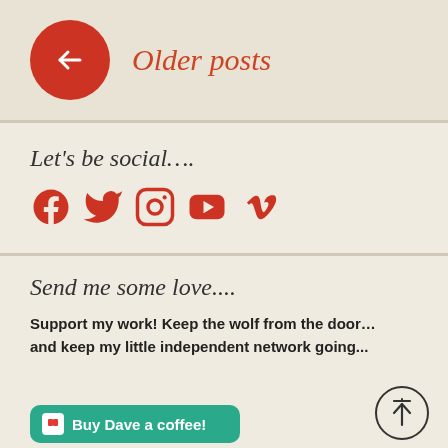Older posts
Let's be social….
[Figure (infographic): Social media icons: Facebook, Twitter, Instagram, YouTube, Vimeo in dark red/crimson color]
Send me some love....
Support my work! Keep the wolf from the door… and keep my little independent network going...
[Figure (illustration): Teal/green Buy Me a Coffee button at bottom left]
[Figure (illustration): Scroll-to-top circular button with upward arrow, bottom right]